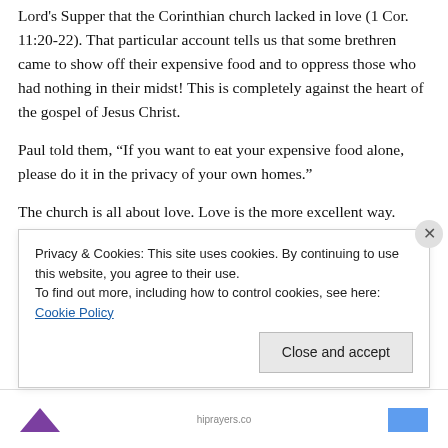Lord's Supper that the Corinthian church lacked in love (1 Cor. 11:20-22). That particular account tells us that some brethren came to show off their expensive food and to oppress those who had nothing in their midst! This is completely against the heart of the gospel of Jesus Christ.
Paul told them, “If you want to eat your expensive food alone, please do it in the privacy of your own homes.”
The church is all about love. Love is the more excellent way. Love is the bond of perfectness.
[Below: Even the ministry of witnessing must be driven by
Privacy & Cookies: This site uses cookies. By continuing to use this website, you agree to their use.
To find out more, including how to control cookies, see here: Cookie Policy